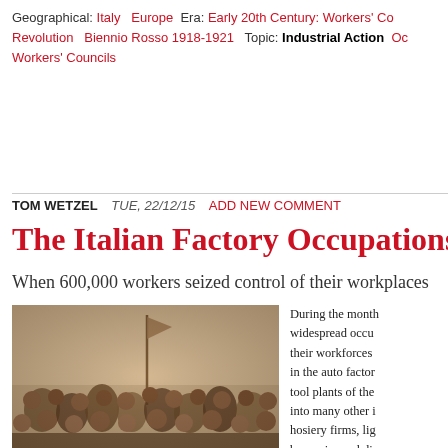Geographical: Italy  Europe  Era: Early 20th Century: Workers' Co Revolution  Biennio Rosso 1918-1921  Topic: Industrial Action  Oc Workers' Councils
TOM WETZEL   TUE, 22/12/15   ADD NEW COMMENT
The Italian Factory Occupations o
When 600,000 workers seized control of their workplaces
[Figure (photo): Black and white historical photograph of a large group of workers gathered together, with a flag or banner visible in the background.]
During the month widespread occu their workforces in the auto factor tool plants of the into many other i hosiery firms, lig breweries and di